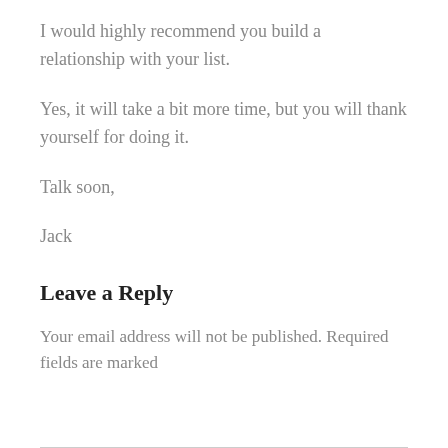I would highly recommend you build a relationship with your list.
Yes, it will take a bit more time, but you will thank yourself for doing it.
Talk soon,
Jack
Leave a Reply
Your email address will not be published. Required fields are marked